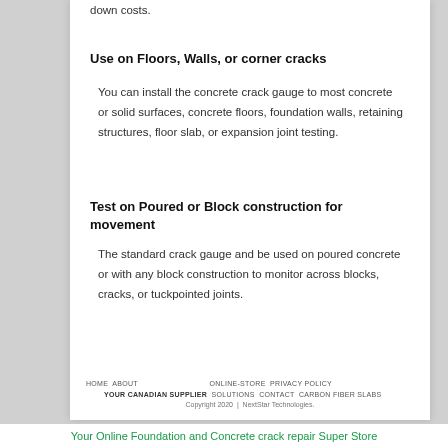down costs.
Use on Floors, Walls, or corner cracks
You can install the concrete crack gauge to most concrete or solid surfaces, concrete floors, foundation walls, retaining structures, floor slab, or expansion joint testing.
Test on Poured or Block construction for movement
The standard crack gauge and be used on poured concrete or with any block construction to monitor across blocks, cracks, or tuckpointed joints.
HOME  ABOUT  ONLINE-STORE  PRIVACY POLICY  YOUR CANADIAN SUPPLIER  SOLUTIONS  CONTACT  CARBON FIBER SLABS
Copyright 2020  |  NextStar Technologies.
Your Online Foundation and Concrete crack repair Super Store